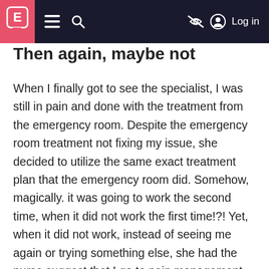E [logo] ≡ 🔍 [eye-slash] Log in
Then again, maybe not
When I finally got to see the specialist, I was still in pain and done with the treatment from the emergency room. Despite the emergency room treatment not fixing my issue, she decided to utilize the same exact treatment plan that the emergency room did. Somehow, magically. it was going to work the second time, when it did not work the first time!?! Yet, when it did not work, instead of seeing me again or trying something else, she had the nurse suggest that I go to pain management. There are no words more frustrating to me